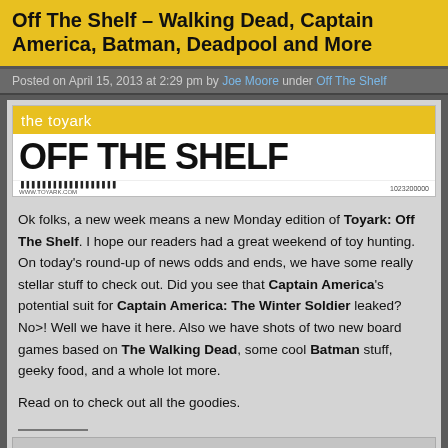Off The Shelf – Walking Dead, Captain America, Batman, Deadpool and More
Posted on April 15, 2013 at 2:29 pm by Joe Moore under Off The Shelf
[Figure (logo): The Toyark Off The Shelf banner image with yellow header reading 'the toyark', large black bold text 'OFF THE SHELF', barcode and www.toyark.com URL at bottom]
Ok folks, a new week means a new Monday edition of Toyark: Off The Shelf. I hope our readers had a great weekend of toy hunting. On today's round-up of news odds and ends, we have some really stellar stuff to check out. Did you see that Captain America's potential suit for Captain America: The Winter Soldier leaked? No>! Well we have it here. Also we have shots of two new board games based on The Walking Dead, some cool Batman stuff, geeky food, and a whole lot more.
Read on to check out all the goodies.